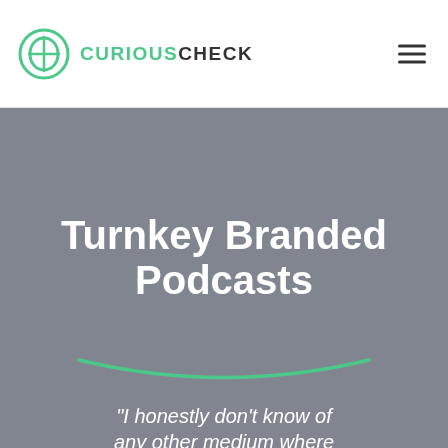[Figure (logo): CuriousCheck logo with circular icon and text]
Turnkey Branded Podcasts
“I honestly don’t know of any other medium where you can make such a